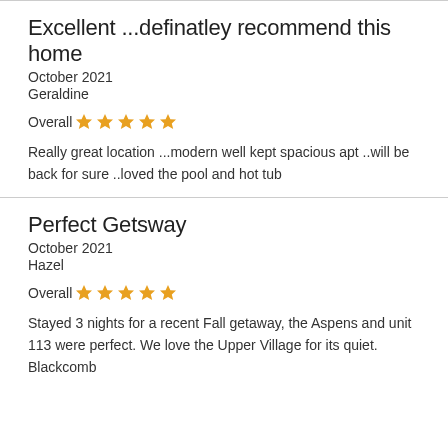Excellent ...definatley recommend this home
October 2021
Geraldine
Overall ★★★★★
Really great location ...modern well kept spacious apt ..will be back for sure ..loved the pool and hot tub
Perfect Getsway
October 2021
Hazel
Overall ★★★★★
Stayed 3 nights for a recent Fall getaway, the Aspens and unit 113 were perfect. We love the Upper Village for its quiet. Blackcomb